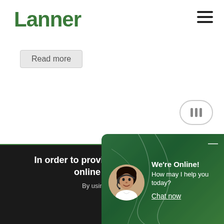Lanner
Read more
[Figure (other): Rounded pill button with three vertical bars icon]
In order to provide you with the best online experience
By using our website
[Figure (other): Chat popup overlay with green background, avatar of woman with headset, text: We're Online! How may I help you today? Chat now]